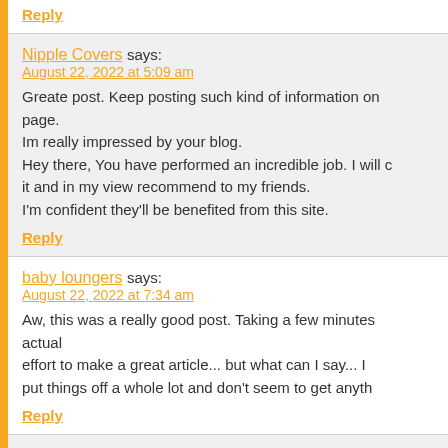Reply
Nipple Covers says:
August 22, 2022 at 5:09 am
Greate post. Keep posting such kind of information on page.
Im really impressed by your blog.
Hey there, You have performed an incredible job. I will certainly digg it and in my view recommend to my friends.
I'm confident they'll be benefited from this site.
Reply
baby loungers says:
August 22, 2022 at 7:34 am
Aw, this was a really good post. Taking a few minutes and actual effort to make a great article... but what can I say... I put things off a whole lot and don't seem to get anything done.
Reply
Door Handles says:
August 23, 2022 at 4:20 am